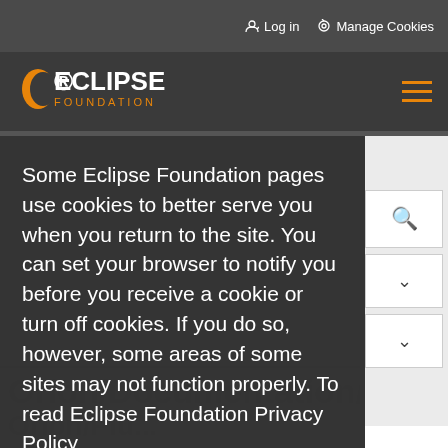Log in   Manage Cookies
[Figure (logo): Eclipse Foundation logo with orange crescent and white text ECLIPSE FOUNDATION]
Some Eclipse Foundation pages use cookies to better serve you when you return to the site. You can set your browser to notify you before you receive a cookie or turn off cookies. If you do so, however, some areas of some sites may not function properly. To read Eclipse Foundation Privacy Policy click here.
Decline
Allow cookies
Orion/Documentation/De
Orion/Plu...